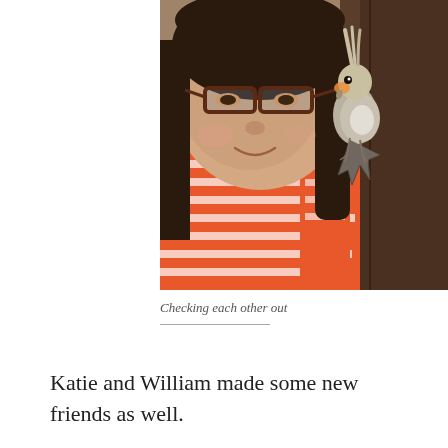[Figure (photo): A young woman with glasses and dark hair smiling, with a cockatiel bird perched on her shoulder. She is wearing an orange and white striped shirt. The background shows a wooden door or cabinet.]
Checking each other out
Katie and William made some new friends as well.